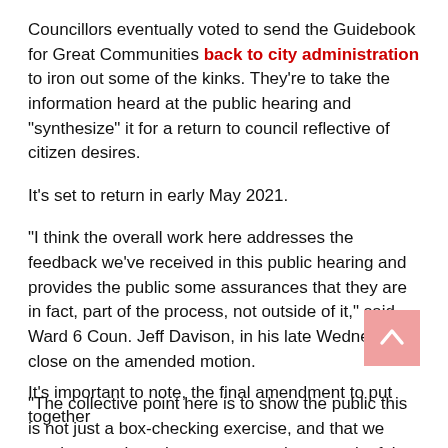Councillors eventually voted to send the Guidebook for Great Communities back to city administration to iron out some of the kinks. They're to take the information heard at the public hearing and “synthesize” it for a return to council reflective of citizen desires.
It’s set to return in early May 2021.
“I think the overall work here addresses the feedback we’ve received in this public hearing and provides the public some assurances that they are in fact, part of the process, not outside of it,” said Ward 6 Coun. Jeff Davison, in his late Wednesday close on the amended motion.
“The collective point here is to show the public this is not just a box-checking exercise, and that we continue to show those we serve that meaningful engagement and constructive conversation is valued by this council.”
It’s important to note, the final amendment to put together